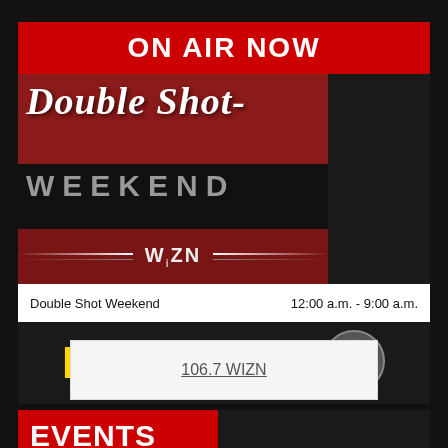ON AIR NOW
[Figure (illustration): Double Shot Weekend show logo on dark background with red and black design, WIZN radio station branding]
Double Shot Weekend    12:00 a.m. - 9:00 a.m.
[Figure (illustration): LISTEN LIVE button with speaker icon in yellow and white text on dark background]
106.7 WIZN
EVENTS